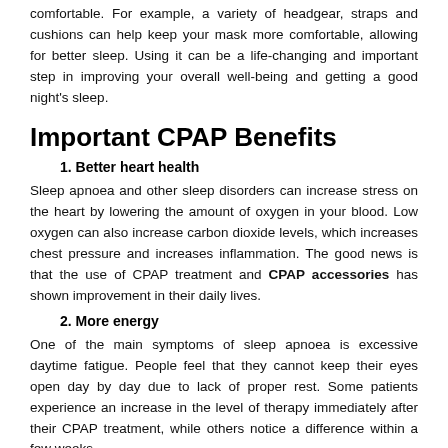comfortable. For example, a variety of headgear, straps and cushions can help keep your mask more comfortable, allowing for better sleep. Using it can be a life-changing and important step in improving your overall well-being and getting a good night's sleep.
Important CPAP Benefits
1. Better heart health
Sleep apnoea and other sleep disorders can increase stress on the heart by lowering the amount of oxygen in your blood. Low oxygen can also increase carbon dioxide levels, which increases chest pressure and increases inflammation. The good news is that the use of CPAP treatment and CPAP accessories has shown improvement in their daily lives.
2. More energy
One of the main symptoms of sleep apnoea is excessive daytime fatigue. People feel that they cannot keep their eyes open day by day due to lack of proper rest. Some patients experience an increase in the level of therapy immediately after their CPAP treatment, while others notice a difference within a few weeks.